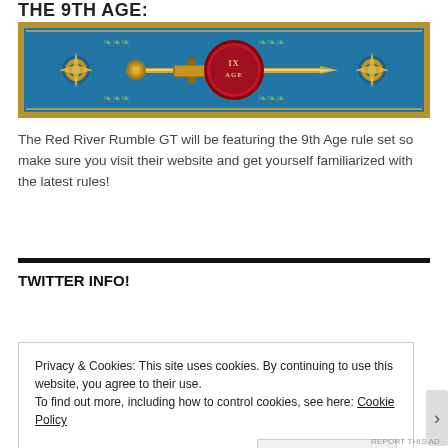THE 9TH AGE:
[Figure (illustration): Banner image with blue background, gold decorative border, a sword in the center, a red wax seal with 'IX AGE' text, and gold star decorations on the sides.]
The Red River Rumble GT will be featuring the 9th Age rule set so make sure you visit their website and get yourself familiarized with the latest rules!
TWITTER INFO!
Privacy & Cookies: This site uses cookies. By continuing to use this website, you agree to their use.
To find out more, including how to control cookies, see here: Cookie Policy
Close and accept